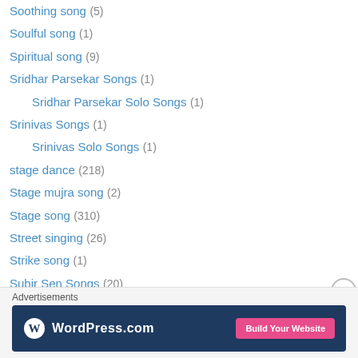Soothing song (5)
Soulful song (1)
Spiritual song (9)
Sridhar Parsekar Songs (1)
Sridhar Parsekar Solo Songs (1)
Srinivas Songs (1)
Srinivas Solo Songs (1)
stage dance (218)
Stage mujra song (2)
Stage song (310)
Street singing (26)
Strike song (1)
Subir Sen Songs (20)
Subir Sen Solos (9)
Sudesh Bhonsle songs (5)
Sudesh Bhonsle solos (1)
Advertisements
[Figure (other): WordPress.com advertisement banner with Build Your Website button]